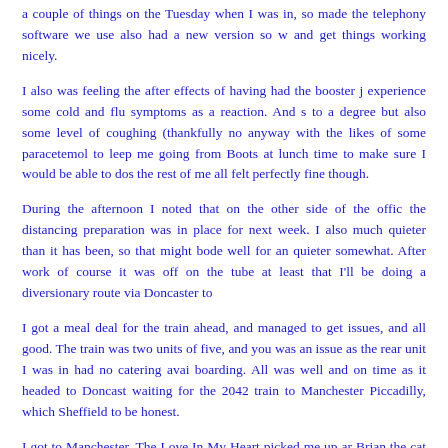a couple of things on the Tuesday when I was in, so made the telephony software we use also had a new version so w and get things working nicely.
I also was feeling the after effects of having had the booster j experience some cold and flu symptoms as a reaction. And s to a degree but also some level of coughing (thankfully no anyway with the likes of some paracetemol to leep me going from Boots at lunch time to make sure I would be able to dos the rest of me all felt perfectly fine though.
During the afternoon I noted that on the other side of the offic the distancing preparation was in place for next week. I also much quieter than it has been, so that might bode well for an quieter somewhat. After work of course it was off on the tube at least that I'll be doing a diversionary route via Doncaster to
I got a meal deal for the train ahead, and managed to get issues, and all good. The train was two units of five, and you was an issue as the rear unit I was in had no catering avai boarding. All was well and on time as it headed to Doncast waiting for the 2042 train to Manchester Piccadilly, which Sheffield to be honest.
I got to Manchester, The Love In My Heart picked me up ar Brian the cat on the pouffle being as adorable as ever. I ha